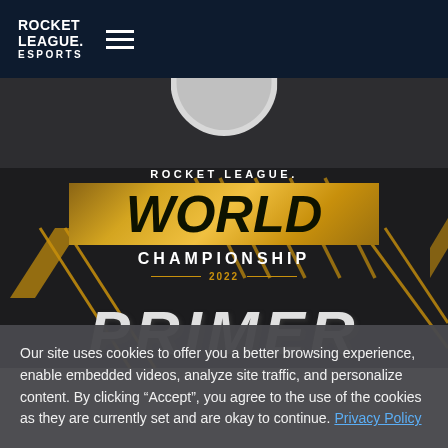Rocket League Esports
[Figure (screenshot): Rocket League World Championship 2022 promotional banner with dark background, gold diagonal stripe decorations, a dark jersey with white collar at top, the Rocket League World Championship 2022 logo in the center, and partial PRIMER text at the bottom]
Our site uses cookies to offer you a better browsing experience, enable embedded videos, analyze site traffic, and personalize content. By clicking “Accept”, you agree to the use of the cookies as they are currently set and are okay to continue. Privacy Policy